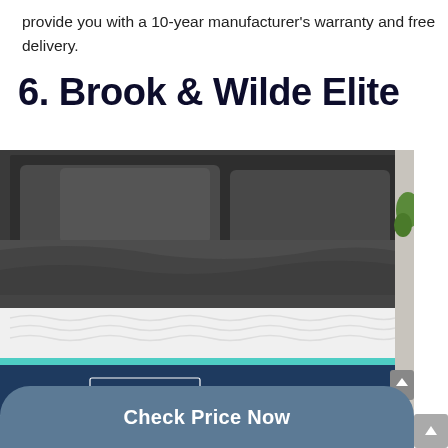provide you with a 10-year manufacturer's warranty and free delivery.
6. Brook & Wilde Elite
[Figure (photo): Photo of a Brook & Wilde Elite mattress on a dark upholstered bed frame with dark grey bedding, a teal accent stripe on the mattress side, and the Brook + Wilde logo badge visible on the navy blue base. A green plant is partially visible on the right side.]
Check Price Now